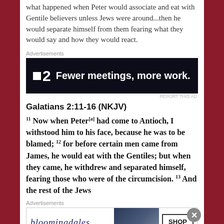what happened when Peter would associate and eat with Gentile believers unless Jews were around...then he would separate himself from them fearing what they would say and how they would react.
[Figure (other): Advertisement banner for Fewer meetings, more work (dark background with logo)]
Galatians 2:11-16 (NKJV)
11 Now when Peter[a] had come to Antioch, I withstood him to his face, because he was to be blamed; 12 for before certain men came from James, he would eat with the Gentiles; but when they came, he withdrew and separated himself, fearing those who were of the circumcision. 13 And the rest of the Jews
[Figure (other): Advertisement banner for Bloomingdales - View Today's Top Deals with SHOP NOW button]